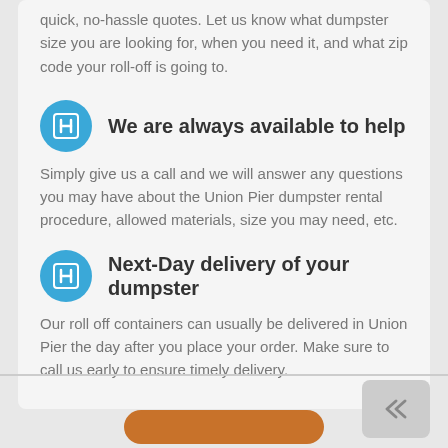quick, no-hassle quotes. Let us know what dumpster size you are looking for, when you need it, and what zip code your roll-off is going to.
We are always available to help
Simply give us a call and we will answer any questions you may have about the Union Pier dumpster rental procedure, allowed materials, size you may need, etc.
Next-Day delivery of your dumpster
Our roll off containers can usually be delivered in Union Pier the day after you place your order. Make sure to call us early to ensure timely delivery.